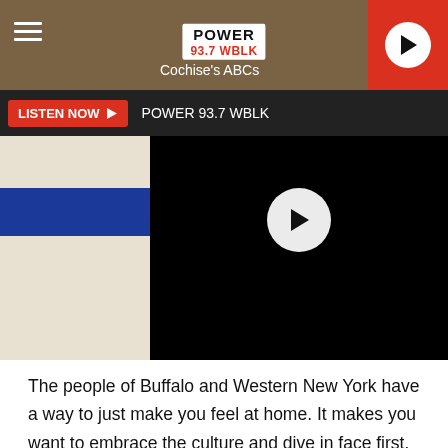Power 93.7 WBLK — Cochise's ABCs
[Figure (screenshot): LISTEN NOW button bar with Power 93.7 WBLK text, and a video player with black background and white play button circle]
The people of Buffalo and Western New York have a way to just make you feel at home. It makes you want to embrace the culture and dive in face first.
Knowing this helps me understand exactly why and how Josh Allen feels the way he does.
““ There is no better match than @JoshAllenQB and